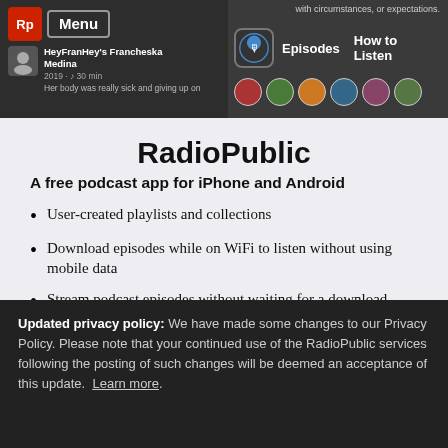[Figure (screenshot): RadioPublic app header screenshot showing menu, episode info, podcast icon, Episodes and How to Listen navigation links, and podcast cover art circles.]
RadioPublic
A free podcast app for iPhone and Android
User-created playlists and collections
Download episodes while on WiFi to listen without using mobile data
Stream podcast episodes without waiting for a download
Queue episodes to create a personal
Updated privacy policy: We have made some changes to our Privacy Policy. Please note that your continued use of the RadioPublic services following the posting of such changes will be deemed an acceptance of this update. Learn more.